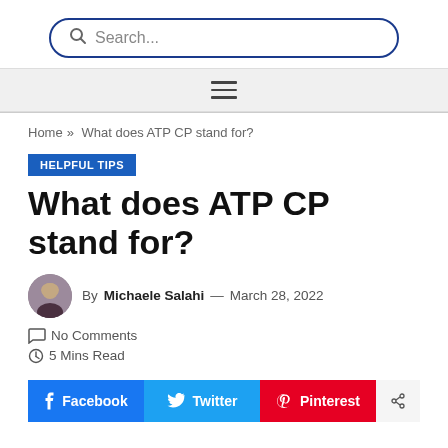[Figure (screenshot): Search bar with magnifying glass icon and placeholder text 'Search...' in a rounded rectangle with blue border]
[Figure (other): Gray navigation menu bar with hamburger menu icon (three horizontal lines)]
Home » What does ATP CP stand for?
HELPFUL TIPS
What does ATP CP stand for?
By Michaele Salahi — March 28, 2022   No Comments
5 Mins Read
Facebook   Twitter   Pinterest